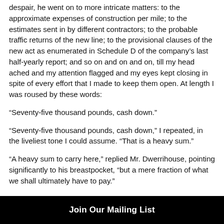despair, he went on to more intricate matters: to the approximate expenses of construction per mile; to the estimates sent in by different contractors; to the probable traffic returns of the new line; to the provisional clauses of the new act as enumerated in Schedule D of the company's last half-yearly report; and so on and on and on, till my head ached and my attention flagged and my eyes kept closing in spite of every effort that I made to keep them open. At length I was roused by these words:
“Seventy-five thousand pounds, cash down.”
“Seventy-five thousand pounds, cash down,” I repeated, in the liveliest tone I could assume. “That is a heavy sum.”
“A heavy sum to carry here,” replied Mr. Dwerrihouse, pointing significantly to his breastpocket, “but a mere fraction of what we shall ultimately have to pay.”
Join Our Mailing List